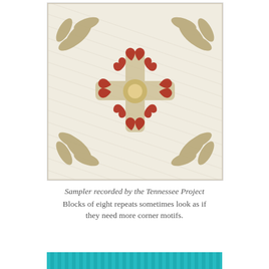[Figure (photo): A quilt block sampler showing a circular arrangement of eight red heart shapes at the center, surrounded by tan/khaki leaf or feather appliqué motifs at the corners, set against a cream background with diagonal quilting lines. Recorded by the Tennessee Project.]
Sampler recorded by the Tennessee Project
Blocks of eight repeats sometimes look as if they need more corner motifs.
[Figure (photo): Bottom portion of a teal/turquoise patterned quilt strip, partially visible at the bottom of the page.]